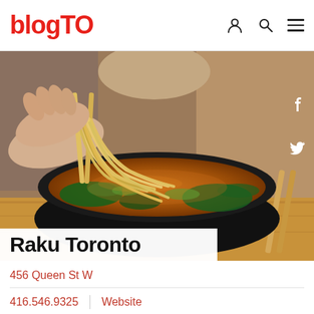blogTO
[Figure (photo): A person holding chopsticks lifting udon or ramen noodles from a dark bowl filled with ramen soup, green onions, and greens, placed on a wooden table.]
Raku Toronto
456 Queen St W
416.546.9325  |  Website